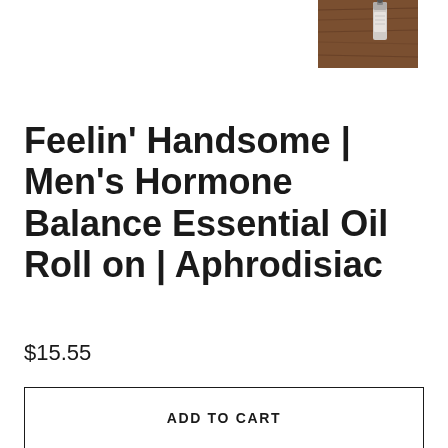[Figure (photo): A roll-on essential oil bottle on a dark wooden surface, partially visible at the top right of the page.]
Feelin' Handsome | Men's Hormone Balance Essential Oil Roll on | Aphrodisiac
$15.55
ADD TO CART